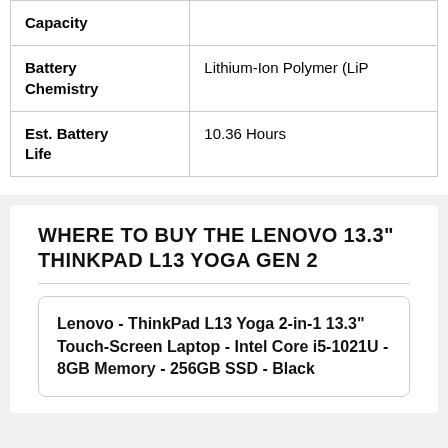| Attribute | Value |
| --- | --- |
| Capacity |  |
| Battery Chemistry | Lithium-Ion Polymer (LiP |
| Est. Battery Life | 10.36 Hours |
WHERE TO BUY THE LENOVO 13.3" THINKPAD L13 YOGA GEN 2
Lenovo - ThinkPad L13 Yoga 2-in-1 13.3" Touch-Screen Laptop - Intel Core i5-1021U - 8GB Memory - 256GB SSD - Black